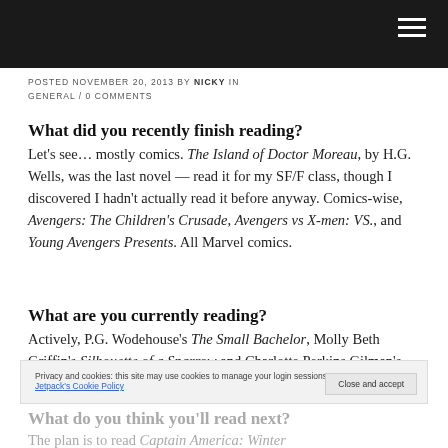POSTED NOVEMBER 20, 2013 BY NICKY IN GENERAL / 0 COMMENTS
What did you recently finish reading?
Let's see… mostly comics. The Island of Doctor Moreau, by H.G. Wells, was the last novel — read it for my SF/F class, though I discovered I hadn't actually read it before anyway. Comics-wise, Avengers: The Children's Crusade, Avengers vs X-men: VS., and Young Avengers Presents. All Marvel comics.
What are you currently reading?
Actively, P.G. Wodehouse's The Small Bachelor, Molly Beth Griffin's Silhouette of a Sparrow and Charlotte Perkins Gilman's Herland; the latter, is once again, for my SF/F class.
What do you think you'll read next?
The plan is to read Captain America: Winter